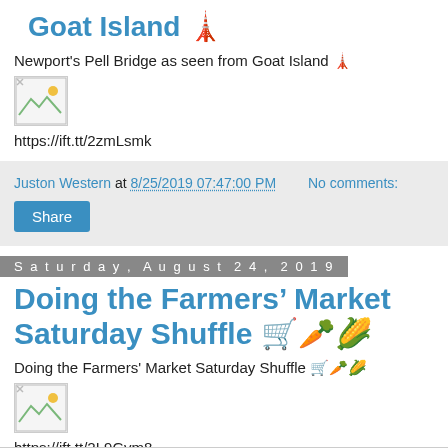Goat Island 🏞
Newport's Pell Bridge as seen from Goat Island 🏞
[Figure (photo): Broken image placeholder]
https://ift.tt/2zmLsmk
Juston Western at 8/25/2019 07:47:00 PM    No comments:
Share
Saturday, August 24, 2019
Doing the Farmers' Market Saturday Shuffle 🛒🥕🌽
Doing the Farmers' Market Saturday Shuffle 🛒🥕🌽
[Figure (photo): Broken image placeholder]
https://ift.tt/2L9Gvm8